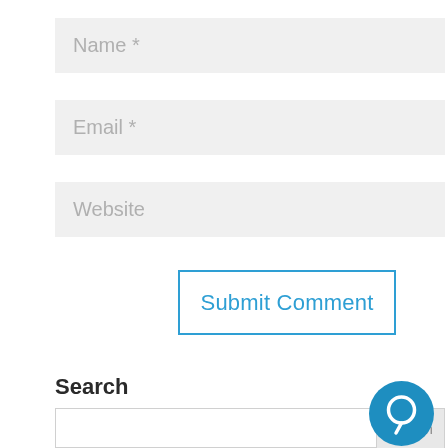Name *
Email *
Website
Submit Comment
Search
Search